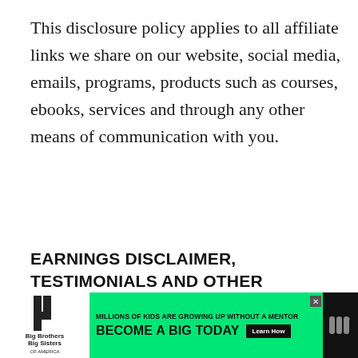This disclosure policy applies to all affiliate links we share on our website, social media, emails, programs, products such as courses, ebooks, services and through any other means of communication with you.
EARNINGS DISCLAIMER, TESTIMONIALS AND OTHER DISCLAIMERS
[Figure (other): Advertisement banner for Big Brothers Big Sisters. Green background with text 'MILLIONS OF KIDS ARE GROWING UP WITHOUT A MENTOR. BECOME A BIG TODAY' and a 'Learn How' button. Logo on white background on the left.]